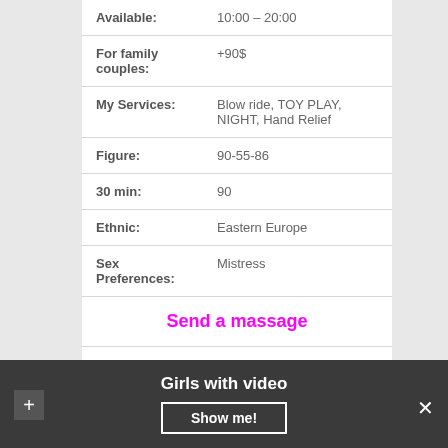| Field | Value |
| --- | --- |
| Available: | 10:00 – 20:00 |
| For family couples: | +90$ |
| My Services: | Blow ride, TOY PLAY, NIGHT, Hand Relief |
| Figure: | 90-55-86 |
| 30 min: | 90 |
| Ethnic: | Eastern Europe |
| Sex Preferences: | Mistress |
|  | Send a massage |
Girls with video
Show me!